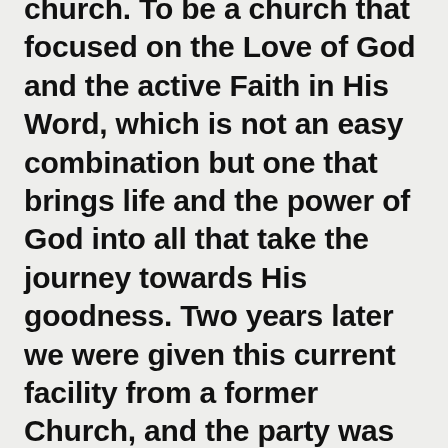church. To be a church that focused on the Love of God and the active Faith in His Word, which is not an easy combination but one that brings life and the power of God into all that take the journey towards His goodness. Two years later we were given this current facility from a former Church, and the party was on, a debt free facility. God is so good!!